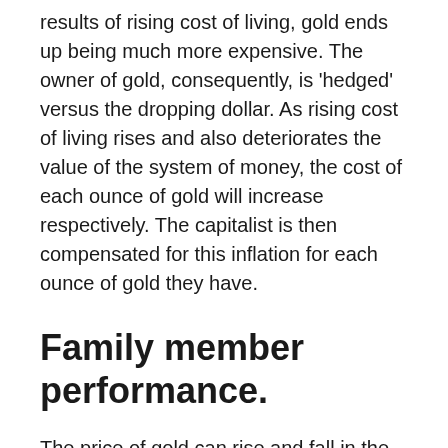results of rising cost of living, gold ends up being much more expensive. The owner of gold, consequently, is 'hedged' versus the dropping dollar. As rising cost of living rises and also deteriorates the value of the system of money, the cost of each ounce of gold will increase respectively. The capitalist is then compensated for this inflation for each ounce of gold they have.
Family member performance.
The price of gold can rise and fall in the short-term, however over the long-term, it can undoubtedly outperform riskier asset classes such as equity as well as home. It has actually historically performed far better offered economic differences, its hedging